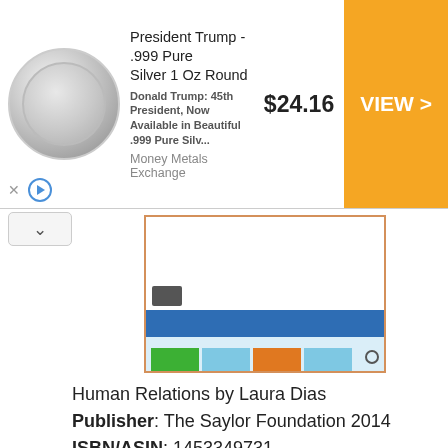[Figure (screenshot): Advertisement banner for President Trump .999 Pure Silver 1 Oz Round coin, priced at $24.16, with a VIEW > button on orange background. Shows coin image on left, text description, Money Metals Exchange seller name.]
[Figure (illustration): Book cover thumbnail for Human Relations by Laura Dias showing colored blocks: blue bar, green, light blue, orange, light blue squares, and a person icon.]
Human Relations by Laura Dias
Publisher: The Saylor Foundation 2014
ISBN/ASIN: 1453349731
Number of pages: 395
Human Relations by Laura Portolese-Dias addresses all of the critical topics to obtain career succes ....
Business & Investing
Management & Leadership
Human Resource Management